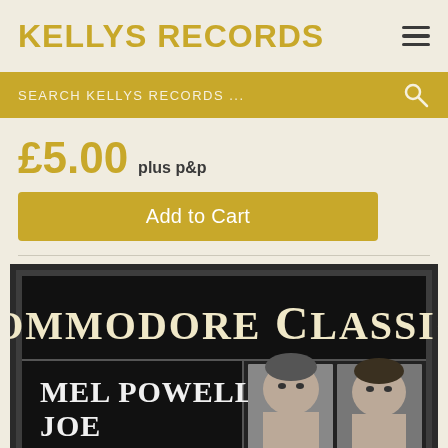KELLYS RECORDS
SEARCH KELLYS RECORDS ...
£5.00 plus p&p
Add to Cart
[Figure (photo): Album cover for Commodore Classics featuring Mel Powell and Joe Bushkin. Black background with large cream/white serif text reading 'Commodore Classics' at top, below that in a split panel: left side shows text 'MEL POWELL JOE BUSHKIN' in large white serif letters, right side shows black and white portrait photos of two men.]